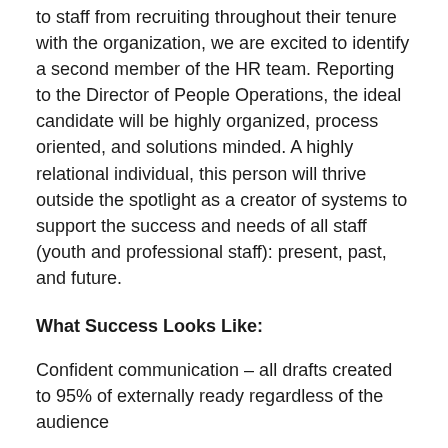to staff from recruiting throughout their tenure with the organization, we are excited to identify a second member of the HR team. Reporting to the Director of People Operations, the ideal candidate will be highly organized, process oriented, and solutions minded. A highly relational individual, this person will thrive outside the spotlight as a creator of systems to support the success and needs of all staff (youth and professional staff): present, past, and future.
What Success Looks Like:
Confident communication – all drafts created to 95% of externally ready regardless of the audience
Systems elevation – evaluate current systems to eliminate or improve cumbersome, redundant, or low UX platforms